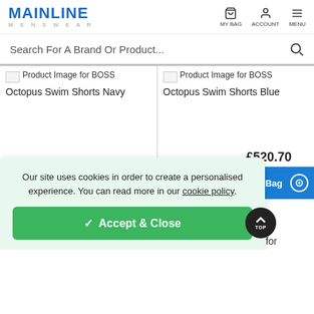MAINLINE MENSWEAR
Search For A Brand Or Product...
[Figure (screenshot): Product image placeholder for BOSS Octopus Swim Shorts Navy]
BOSS Octopus Swim Shorts Navy
[Figure (screenshot): Product image placeholder for BOSS Octopus Swim Shorts Blue]
BOSS Octopus Swim Shorts Blue
£520.70
d to Bag
Our site uses cookies in order to create a personalised experience. You can read more in our cookie policy.
✓ Accept & Close
mage for